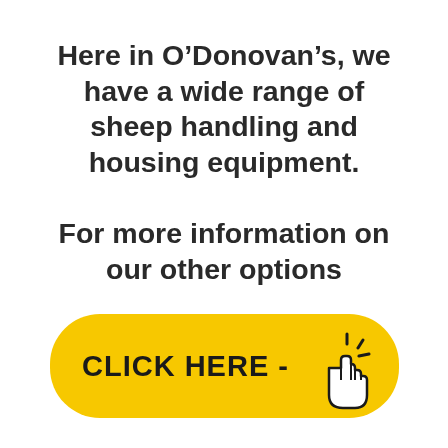Here in O’Donovan’s, we have a wide range of sheep handling and housing equipment. For more information on our other options
[Figure (illustration): Yellow pill-shaped button with bold black text 'CLICK HERE -' and a hand cursor icon with click lines to the right]